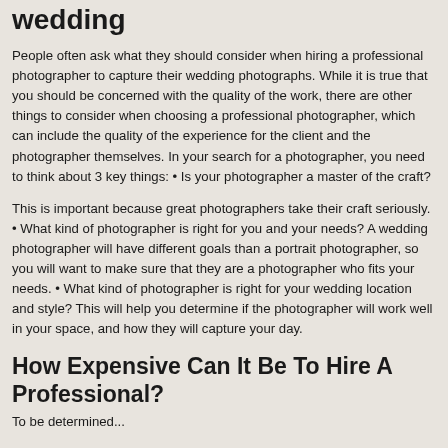wedding
People often ask what they should consider when hiring a professional photographer to capture their wedding photographs. While it is true that you should be concerned with the quality of the work, there are other things to consider when choosing a professional photographer, which can include the quality of the experience for the client and the photographer themselves. In your search for a photographer, you need to think about 3 key things: • Is your photographer a master of the craft?
This is important because great photographers take their craft seriously. • What kind of photographer is right for you and your needs? A wedding photographer will have different goals than a portrait photographer, so you will want to make sure that they are a photographer who fits your needs. • What kind of photographer is right for your wedding location and style? This will help you determine if the photographer will work well in your space, and how they will capture your day.
How Expensive Can It Be To Hire A Professional?
To be determined...